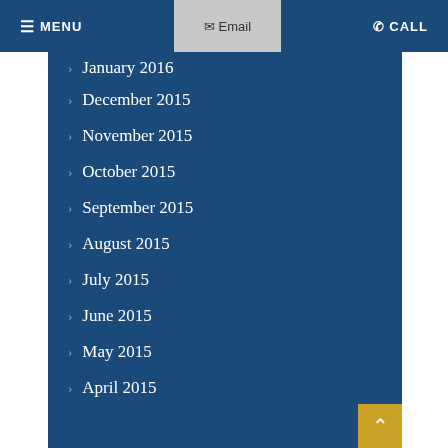☰ MENU  ✉ Email  ✆ CALL
January 2016
December 2015
November 2015
October 2015
September 2015
August 2015
July 2015
June 2015
May 2015
April 2015